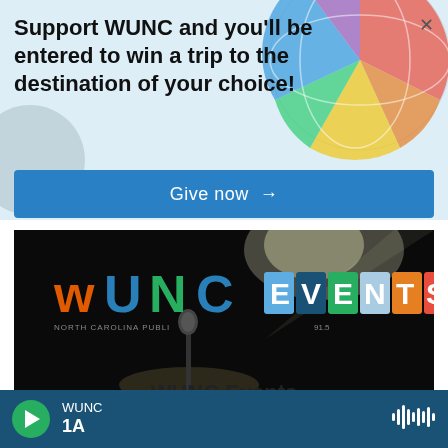Support WUNC and you'll be entered to win a trip to the destination of your choice!
Give now →
[Figure (screenshot): WUNC Events banner image showing WUNC logo in colorful letters and EVENTS text on colored square tiles, with a microphone on a dark stage background]
WUNC Events
Discuss North Carolina politics. Analyze how and
WUNC · 1A (player bar with play button and waveform icon)